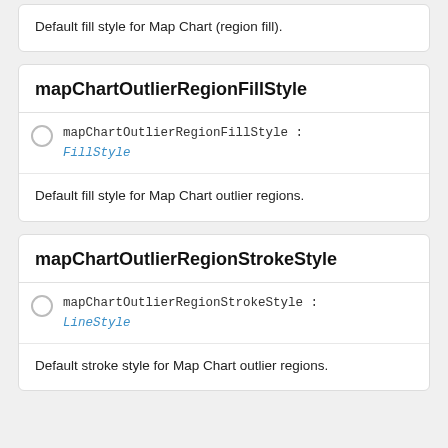Default fill style for Map Chart (region fill).
mapChartOutlierRegionFillStyle
mapChartOutlierRegionFillStyle : FillStyle
Default fill style for Map Chart outlier regions.
mapChartOutlierRegionStrokeStyle
mapChartOutlierRegionStrokeStyle : LineStyle
Default stroke style for Map Chart outlier regions.